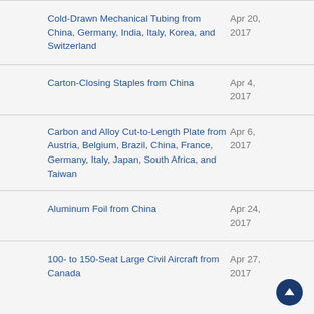Cold-Drawn Mechanical Tubing from China, Germany, India, Italy, Korea, and Switzerland
Carton-Closing Staples from China
Carbon and Alloy Cut-to-Length Plate from Austria, Belgium, Brazil, China, France, Germany, Italy, Japan, South Africa, and Taiwan
Aluminum Foil from China
100- to 150-Seat Large Civil Aircraft from Canada